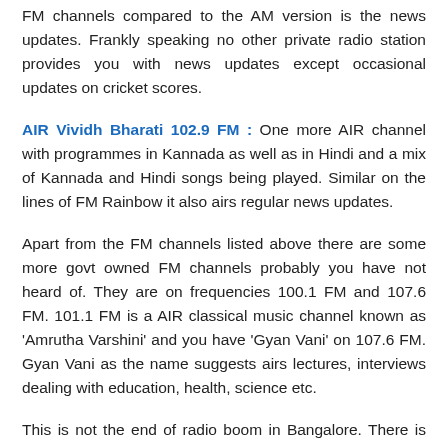FM channels compared to the AM version is the news updates. Frankly speaking no other private radio station provides you with news updates except occasional updates on cricket scores.
AIR Vividh Bharati 102.9 FM : One more AIR channel with programmes in Kannada as well as in Hindi and a mix of Kannada and Hindi songs being played. Similar on the lines of FM Rainbow it also airs regular news updates.
Apart from the FM channels listed above there are some more govt owned FM channels probably you have not heard of. They are on frequencies 100.1 FM and 107.6 FM. 101.1 FM is a AIR classical music channel known as 'Amrutha Varshini' and you have 'Gyan Vani' on 107.6 FM. Gyan Vani as the name suggests airs lectures, interviews dealing with education, health, science etc.
This is not the end of radio boom in Bangalore. There is still more with another 4 FM channels on their way to the silicon valley of India. Thanks to the phase II expansion of private FM channels by the central government, tier II cities too witnessing a radio boom. In Karnataka, Mangalore is going